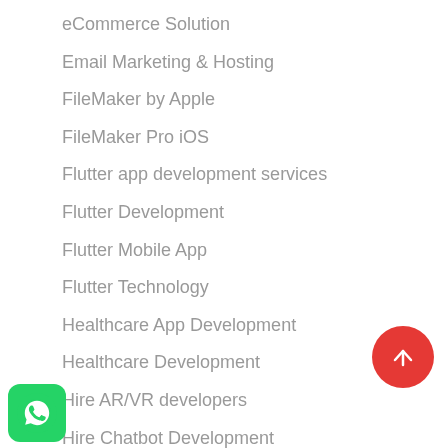eCommerce Solution
Email Marketing & Hosting
FileMaker by Apple
FileMaker Pro iOS
Flutter app development services
Flutter Development
Flutter Mobile App
Flutter Technology
Healthcare App Development
Healthcare Development
Hire AR/VR developers
Hire Chatbot Development
Hire Dedicated Developer